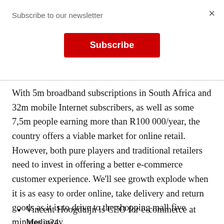Subscribe to our newsletter
[Figure (other): Red Subscribe button]
With 5m broadband subscriptions in South Africa and 32m mobile Internet subscribers, as well as some 7,5m people earning more than R100 000/year, the country offers a viable market for online retail. However, both pure players and traditional retailers need to invest in offering a better e-commerce customer experience. We’ll see growth explode when it is as easy to order online, take delivery and return goods as it is to drive to the shopping mall five minutes away.
Vincent Hoogduijn is CEO for e-commerce at Media24